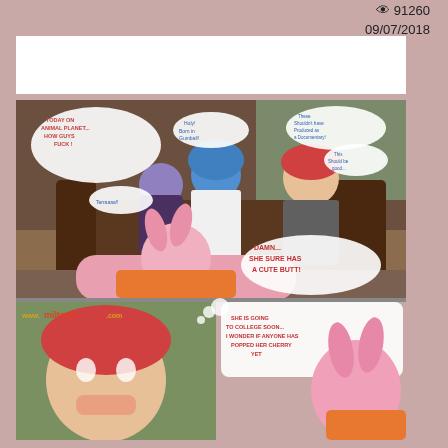👁 91260
09/07/2018
[Figure (illustration): Anime/cartoon style comic page showing characters on a couch watching TV, with speech bubbles. Top panel shows blue-haired and purple-haired characters on a couch with a red-haired man, speech bubbles including 'TODAY ON ANIMAL PLANET... HOW GUYS FUCK!', 'DAMN... SHE SURE HAS A CUTE BUTT!'. Bottom panels show the red-haired man thinking 'SHE IS GOING TO COLLEGE SOON... I WONDER IF ANYONE HAS POPPED HER CHERRY YET' with a pink-haired character. Website watermark 'www.miltoon.com' visible.]